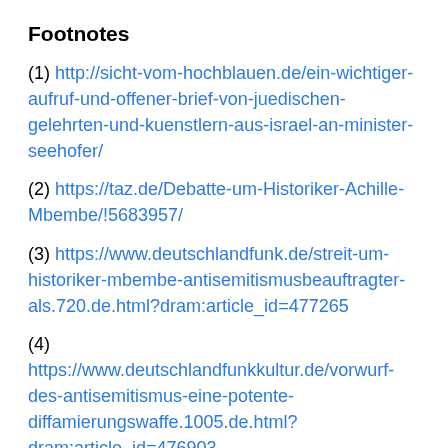Footnotes
(1) http://sicht-vom-hochblauen.de/ein-wichtiger-aufruf-und-offener-brief-von-juedischen-gelehrten-und-kuenstlern-aus-israel-an-minister-seehofer/
(2) https://taz.de/Debatte-um-Historiker-Achille-Mbembe/!5683957/
(3) https://www.deutschlandfunk.de/streit-um-historiker-mbembe-antisemitismusbeauftragter-als.720.de.html?dram:article_id=477265
(4) https://www.deutschlandfunkkultur.de/vorwurf-des-antisemitismus-eine-potente-diffamierungswaffe.1005.de.html?dram:article_id=476903
(5) https://www.badische-zeitung.de/achille-mbembe-ein-